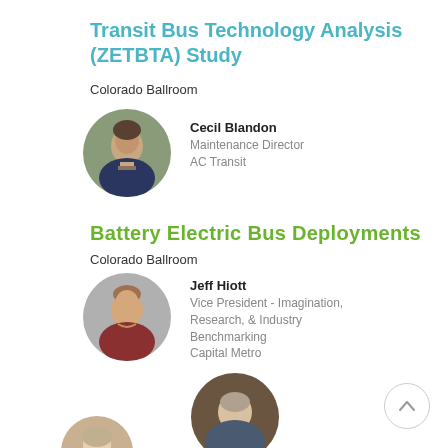Transit Bus Technology Analysis (ZETBTA) Study
Colorado Ballroom
[Figure (photo): Circular headshot of Cecil Blandon, a man in a suit]
Cecil Blandon
Maintenance Director
AC Transit
Battery Electric Bus Deployments
Colorado Ballroom
[Figure (photo): Circular headshot of Jeff Hiott, a man smiling]
Jeff Hiott
Vice President - Imagination, Research, & Industry Benchmarking
Capital Metro
[Figure (photo): Circular headshot of a man in a blue shirt]
[Figure (photo): Circular headshot partially visible at bottom, woman]